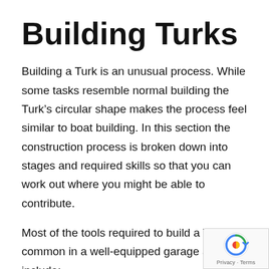Building Turks
Building a Turk is an unusual process. While some tasks resemble normal building the Turk’s circular shape makes the process feel similar to boat building. In this section the construction process is broken down into stages and required skills so that you can work out where you might be able to contribute.
Most of the tools required to build a Turk are common in a well-equipped garage and include:
Battery drill and torque drive
Belt sander and orbital sander
Table saw
Skill saw